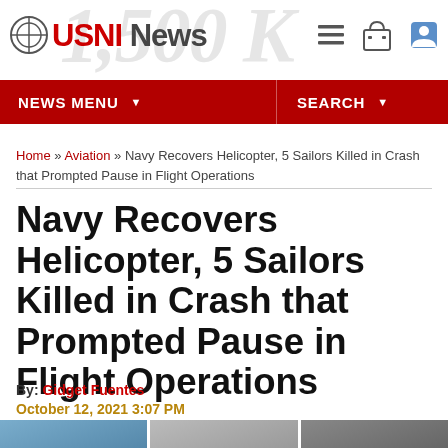USNI News
NEWS MENU  SEARCH
Home » Aviation » Navy Recovers Helicopter, 5 Sailors Killed in Crash that Prompted Pause in Flight Operations
Navy Recovers Helicopter, 5 Sailors Killed in Crash that Prompted Pause in Flight Operations
By: Gidget Fuentes
October 12, 2021 3:07 PM
[Figure (photo): Three partially visible photos at the bottom of the page showing Navy/helicopter imagery]